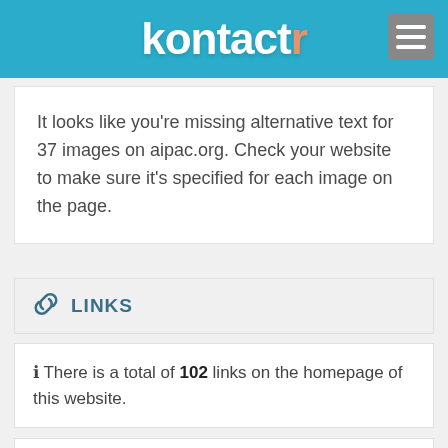kontactr
It looks like you're missing alternative text for 37 images on aipac.org. Check your website to make sure it's specified for each image on the page.
LINKS
ℹ There is a total of 102 links on the homepage of this website.
ℹ Internal links : 94